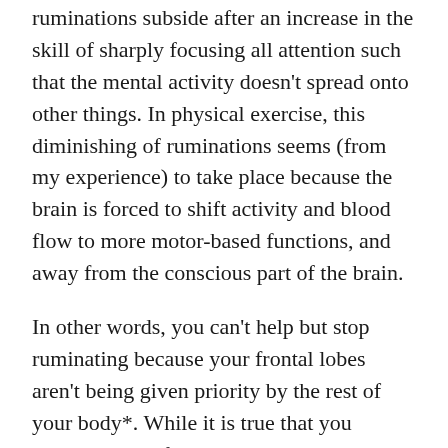ruminations subside after an increase in the skill of sharply focusing all attention such that the mental activity doesn't spread onto other things. In physical exercise, this diminishing of ruminations seems (from my experience) to take place because the brain is forced to shift activity and blood flow to more motor-based functions, and away from the conscious part of the brain.
In other words, you can't help but stop ruminating because your frontal lobes aren't being given priority by the rest of your body*. While it is true that you choose to stay focused, the physical activity is itself a distraction.  I have, at times, tried to read while on a treadmill or similarly engage in intellectual activity while under physical exertion, and it is difficult. This difficulty